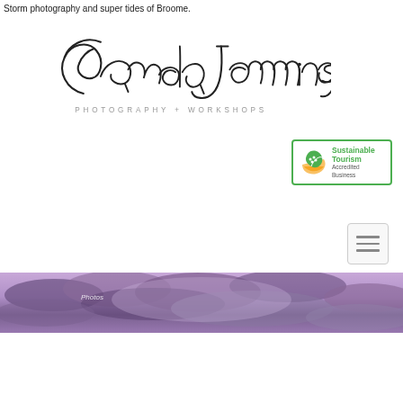Storm photography and super tides of Broome.
[Figure (logo): Pamela Jennings Photography + Workshops cursive signature logo with spaced text subtitle]
[Figure (logo): Sustainable Tourism Accredited Business badge with green border and orange/green leaf icon]
[Figure (other): Hamburger menu icon button with three horizontal lines]
[Figure (photo): Wide panoramic banner photo of dramatic purple-toned storm clouds over Broome]